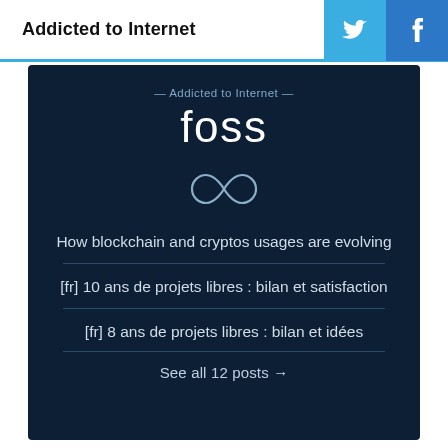Addicted to Internet
— Addicted to Internet —
foss
[Figure (illustration): Infinity symbol icon in light gray/white on dark background]
How blockchain and cryptos usages are evolving
[fr] 10 ans de projets libres : bilan et satisfaction
[fr] 8 ans de projets libres : bilan et idées
See all 12 posts →